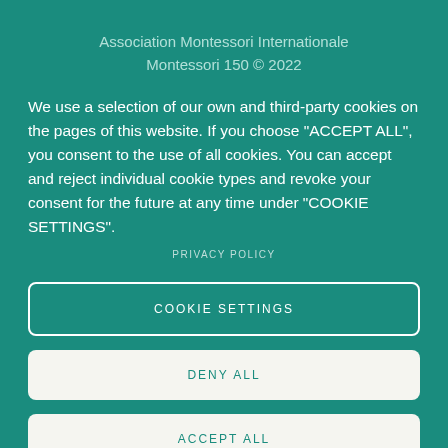Association Montessori Internationale
Montessori 150 © 2022
We use a selection of our own and third-party cookies on the pages of this website. If you choose "ACCEPT ALL", you consent to the use of all cookies. You can accept and reject individual cookie types and revoke your consent for the future at any time under "COOKIE SETTINGS".
PRIVACY POLICY
COOKIE SETTINGS
DENY ALL
ACCEPT ALL